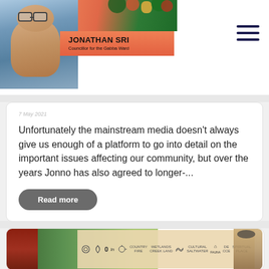[Figure (photo): Header with photo of Jonathan Sri (man with glasses and beard) and name badge reading 'JONATHAN SRI, Councillor for the Gabba Ward' on an orange background with floral decoration]
JONATHAN SRI
Councillor for the Gabba Ward
7 May 2021
Unfortunately the mainstream media doesn't always give us enough of a platform to go into detail on the important issues affecting our community, but over the years Jonno has also agreed to longer-...
Read more
[Figure (photo): Photo of an outdoor gathering or workshop in a bush setting with a board displaying various indigenous or environmental symbols/icons and text, with a person wearing a hat visible on the right]